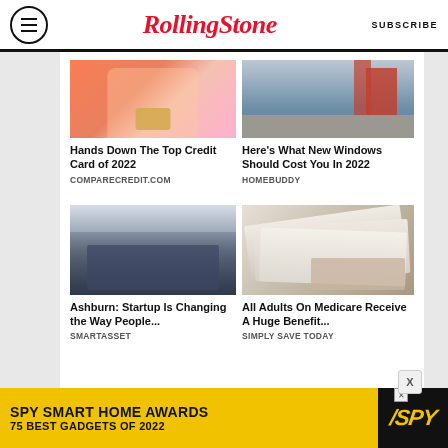Rolling Stone | SUBSCRIBE
[Figure (photo): Woman holding credit card against pink background]
Hands Down The Top Credit Card of 2022
COMPARECREDIT.COM
[Figure (photo): Person on ladder near house windows]
Here's What New Windows Should Cost You In 2022
HOMEBUDDY
[Figure (photo): Group of startup employees in matching shirts outdoors]
Ashburn: Startup Is Changing the Way People...
SMARTASSET
[Figure (photo): Person holding stack of mail/envelopes]
All Adults On Medicare Receive A Huge Benefit...
SIMPLY SAVE TODAY
[Figure (screenshot): SPY Smart Home Awards banner ad - 75 Best Gadgets of 2022]